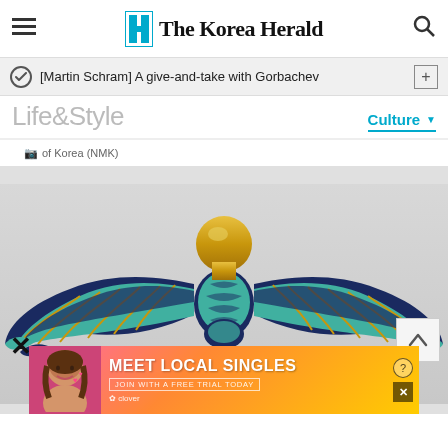The Korea Herald
[Martin Schram] A give-and-take with Gorbachev
Life&Style
Culture
of Korea (NMK)
[Figure (photo): Egyptian scarab winged artifact - turquoise and dark blue with gold details, spread wings with golden orb on top, photographed against white/grey background]
[Figure (photo): Advertisement banner: Meet Local Singles - Join with a free trial today - Clover dating app, with photo of woman]